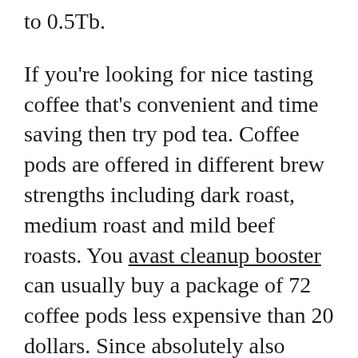to 0.5Tb.
If you're looking for nice tasting coffee that's convenient and time saving then try pod tea. Coffee pods are offered in different brew strengths including dark roast, medium roast and mild beef roasts. You avast cleanup booster can usually buy a package of 72 coffee pods less expensive than 20 dollars. Since absolutely also search for 33 oz can of coffee grinds for about five to 10 dollars at the supermarket, coffee pods are not for budget minded coffee drinkers. That large can surely contain an awful lot more than 72 servings